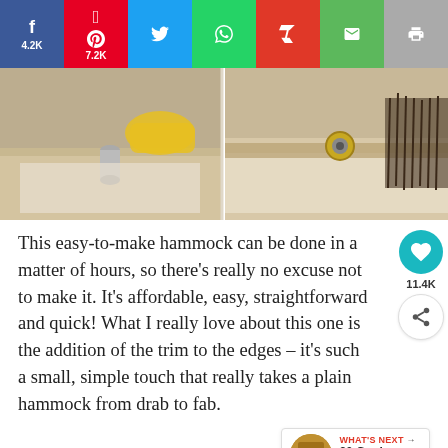[Figure (screenshot): Social sharing bar with Facebook (4.2K), Pinterest (7.2K), Twitter, WhatsApp, Flipboard, Email, Print buttons]
[Figure (photo): Two side-by-side photos of hammock-making process showing grommets/rivets being installed on fabric]
This easy-to-make hammock can be done in a matter of hours, so there's really no excuse not to make it. It's affordable, easy, straightforward and quick! What I really love about this one is the addition of the trim to the edges – it's such a small, simple touch that really takes a plain hammock from drab to fab.
[Figure (screenshot): What's Next promo box: 30 Genius Ways to Reu...]
DIY Instructions and Project Credit –